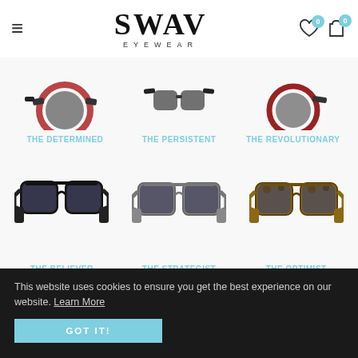SWAV EYEWEAR
[Figure (screenshot): Product grid showing 6 pairs of sunglasses with labels: THE DETERMINED, THE PERSISTENT, THE REVOLUTIONARY, THE BELIEVER, THE STRATEGIST, THE OPTIMIST]
Trailblazer Set SALE
This website uses cookies to ensure you get the best experience on our website. Learn More
GOT IT!